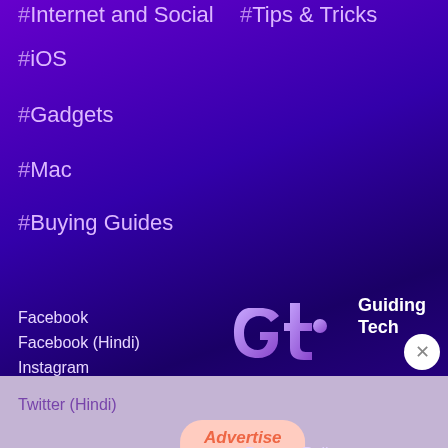#Internet and Social
#Tips & Tricks
#iOS
#Gadgets
#Mac
#Buying Guides
Facebook
Facebook (Hindi)
Instagram
Instagram (Hindi)
YouTube
YouTube (Hindi)
Twitter
[Figure (logo): Guiding Tech logo - stylized GT letters in light purple]
Guiding Tech
About
Contact
Terms of Use
Privacy Policy
Twitter (Hindi)
[Figure (other): Advertise button partially visible at bottom]